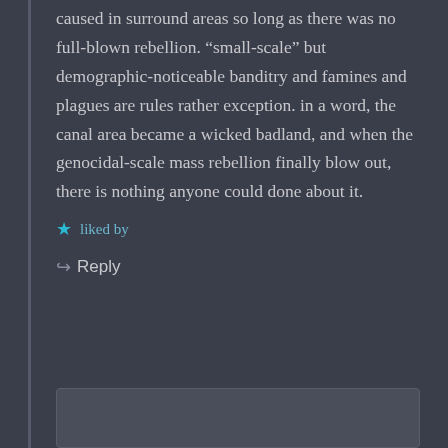caused in surround areas so long as there was no full-blown rebellion. “small-scale” but demographic-noticeable banditry and famines and plagues are rules rather exception. in a word, the canal area became a wicked badland, and when the genocidal-scale mass rebellion finally blow out, there is nothing anyone could done about it.
liked by
Reply